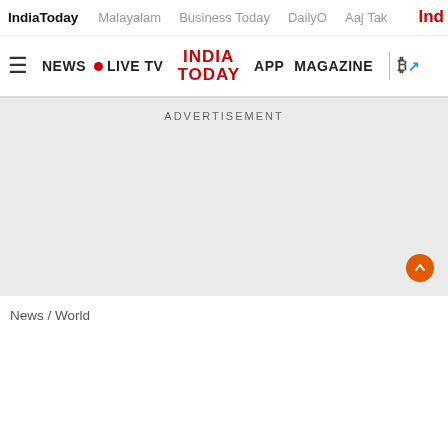Ind
IndiaToday   Malayalam   Business Today   DailyO   Aaj Tak
≡ NEWS • LIVE TV INDIA TODAY APP MAGAZINE ₿↗
ADVERTISEMENT
News / World